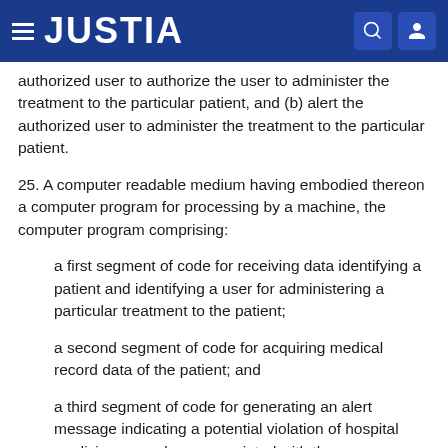JUSTIA
authorized user to authorize the user to administer the treatment to the particular patient, and (b) alert the authorized user to administer the treatment to the particular patient.
25. A computer readable medium having embodied thereon a computer program for processing by a machine, the computer program comprising:
a first segment of code for receiving data identifying a patient and identifying a user for administering a particular treatment to the patient;
a second segment of code for acquiring medical record data of the patient; and
a third segment of code for generating an alert message indicating a potential violation of hospital medicine procedures associated with the